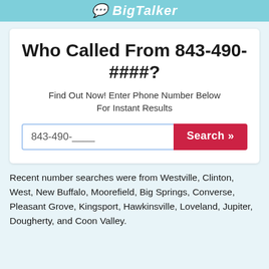BigTalker
Who Called From 843-490-####?
Find Out Now! Enter Phone Number Below For Instant Results
843-490-____  Search »
Recent number searches were from Westville, Clinton, West, New Buffalo, Moorefield, Big Springs, Converse, Pleasant Grove, Kingsport, Hawkinsville, Loveland, Jupiter, Dougherty, and Coon Valley.